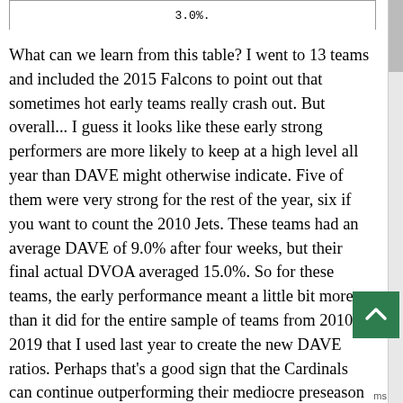| 3.0%. |
What can we learn from this table? I went to 13 teams and included the 2015 Falcons to point out that sometimes hot early teams really crash out. But overall... I guess it looks like these early strong performers are more likely to keep at a high level all year than DAVE might otherwise indicate. Five of them were very strong for the rest of the year, six if you want to count the 2010 Jets. These teams had an average DAVE of 9.0% after four weeks, but their final actual DVOA averaged 15.0%. So for these teams, the early performance meant a little bit more than it did for the entire sample of teams from 2010-2019 that I used last year to create the new DAVE ratios. Perhaps that's a good sign that the Cardinals can continue outperforming their mediocre preseason projection.